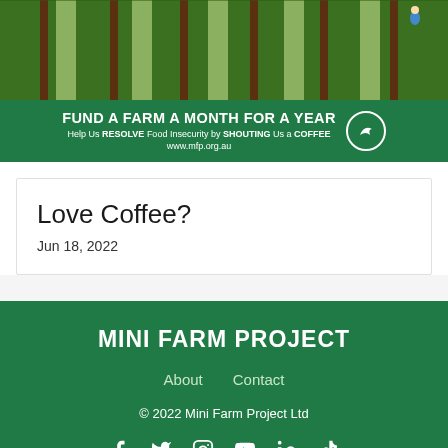[Figure (photo): Aerial view of farm rows with crops, green and brown stripes of cultivated land, person visible in upper right]
[Figure (infographic): Green banner: FUND A FARM A MONTH FOR A YEAR, Help Us RESOLVE Food Insecurity by SHOUTING Us a COFFEE, www.mfp.org.au with circular bird logo]
Love Coffee?
Jun 18, 2022
MINI FARM PROJECT
About   Contact
© 2022 Mini Farm Project Ltd
[Figure (infographic): Social media icons: Facebook, Twitter, Instagram, YouTube, LinkedIn, TikTok]